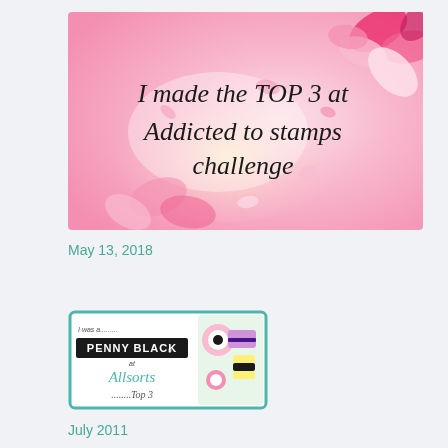[Figure (illustration): Pink floral badge image with cursive text reading 'I made the TOP 3 at Addicted to stamps challenge']
May 13, 2018
[Figure (illustration): Badge with teal border showing 'I was a......... PENNY BLACK at Allsorts .........Top 3' with image of licorice allsorts candies]
July 2011
May 2011